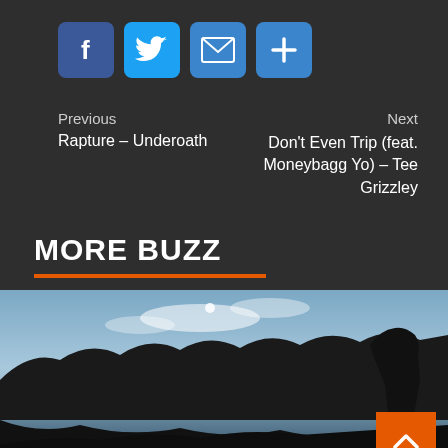[Figure (other): Social share buttons: Facebook (f), Twitter (bird), Email (envelope), More (+) — all on blue/dark-blue rounded square backgrounds]
Previous
Rapture – Underoath
Next
Don't Even Trip (feat. Moneybagg Yo) – Tee Grizzley
MORE BUZZ
[Figure (photo): Outdoor nature photograph showing a calm lake reflecting clouds and a treeline at dusk/twilight. A person's silhouette is visible on the right holding a guitar. The scene is dark and atmospheric.]